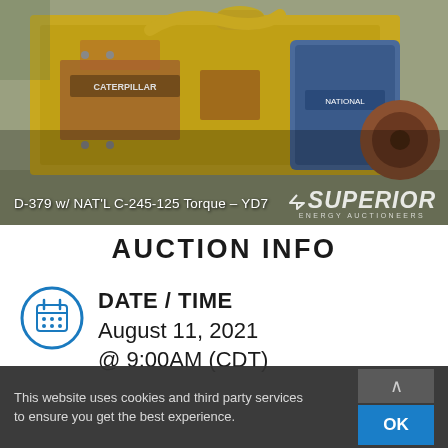[Figure (photo): Yellow industrial engine (Caterpillar D-379) with blue National C-245-125 torque converter attached, mounted on a trailer outdoors. Rusty components visible. Superior Energy Auctioneers watermark in bottom right.]
D-379 w/ NAT'L C-245-125 Torque – YD7
AUCTION INFO
DATE / TIME
August 11, 2021
@ 9:00AM (CDT)
This website uses cookies and third party services to ensure you get the best experience.